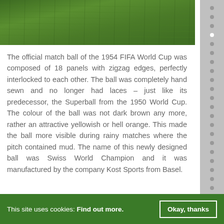[Figure (photo): Green grass field viewed from above, serving as header image]
The official match ball of the 1954 FIFA World Cup was composed of 18 panels with zigzag edges, perfectly interlocked to each other. The ball was completely hand sewn and no longer had laces – just like its predecessor, the Superball from the 1950 World Cup. The colour of the ball was not dark brown any more, rather an attractive yellowish or hell orange. This made the ball more visible during rainy matches where the pitch contained mud. The name of this newly designed ball was Swiss World Champion and it was manufactured by the company Kost Sports from Basel.
This site uses cookies: Find out more.  Okay, thanks